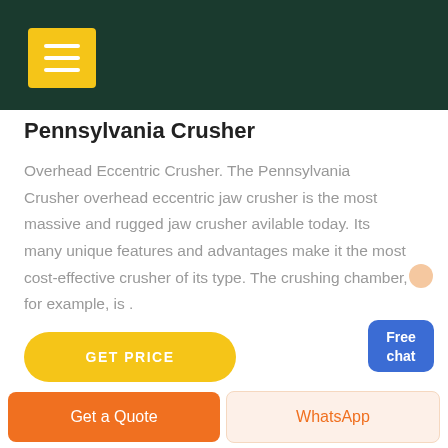Pennsylvania Crusher
Overhead Eccentric Crusher. The Pennsylvania Crusher overhead eccentric jaw crusher is the most massive and rugged jaw crusher avilable today. Its many unique features and advantages make it the most cost-effective crusher of its type. The crushing chamber, for example, is .
[Figure (other): Free chat button widget with person illustration]
GET PRICE
Get a Quote | WhatsApp